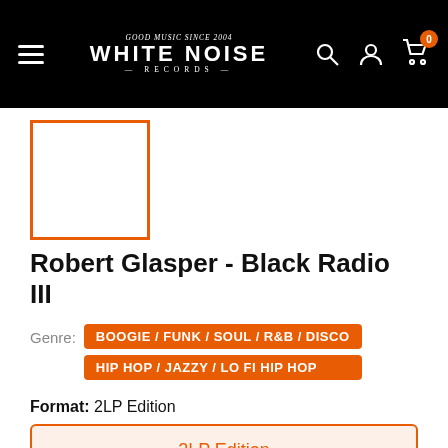WHITE NOISE RECORDS
[Figure (other): Album art thumbnail placeholder (orange border square)]
Robert Glasper - Black Radio III
Genre: BOOGIE / FUNK / SOUL / R&B / DISCO  HIP HOP / JAZZY / LO FI HIP HOP
Format: 2LP Edition
2LP Edition
CD Edition